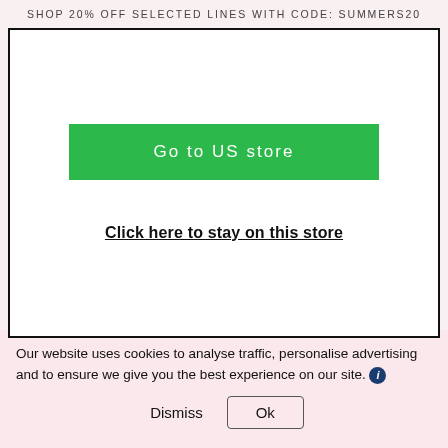SHOP 20% OFF SELECTED LINES WITH CODE: SUMMERS20
[Figure (screenshot): Modal dialog with green 'Go to US store' button and 'Click here to stay on this store' link]
Go to US store
Click here to stay on this store
[Figure (photo): Partial view of a grey off-shoulder top with lace trim]
Our website uses cookies to analyse traffic, personalise advertising and to ensure we give you the best experience on our site.
Dismiss  Ok